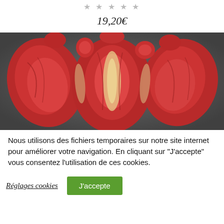★★★★★
19,20€
[Figure (photo): Raw red meat/poultry pieces laid flat on a dark surface, showing multiple cuts with visible connective tissue and fat]
Nous utilisons des fichiers temporaires sur notre site internet pour améliorer votre navigation. En cliquant sur "J'accepte" vous consentez l'utilisation de ces cookies.
Réglages cookies
J'accepte